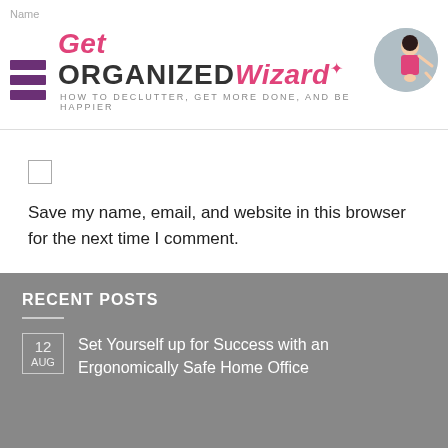Get Organized Wizard — HOW TO DECLUTTER, GET MORE DONE, AND BE HAPPIER
[Figure (illustration): Checkbox (unchecked square)]
Save my name, email, and website in this browser for the next time I comment.
POST COMMENT
RECENT POSTS
12 AUG — Set Yourself up for Success with an Ergonomically Safe Home Office